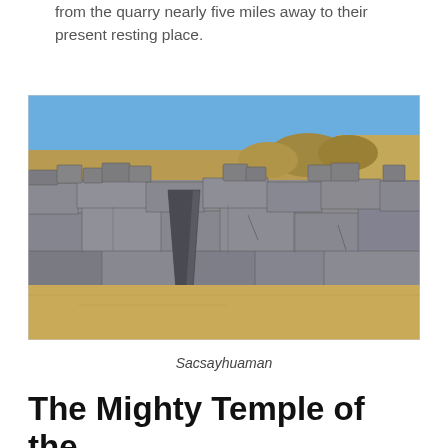from the quarry nearly five miles away to their present resting place.
[Figure (photo): Photograph of the massive stone walls of Sacsayhuaman, an Inca fortress near Cusco, Peru. Large irregularly shaped granite blocks are fitted tightly together forming a tall wall. A prominent tall narrow stone stands in front of the wall. Sandy ground in the foreground, rocky hillside and blue sky in the background.]
Sacsayhuaman
The Mighty Temple of the